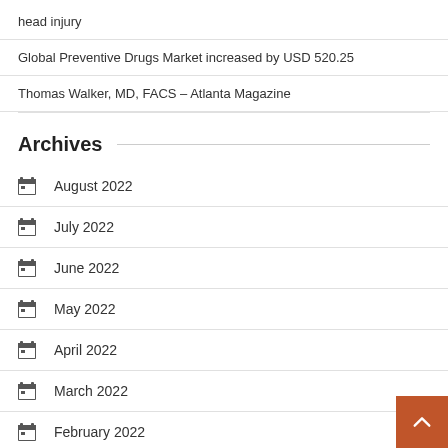head injury
Global Preventive Drugs Market increased by USD 520.25
Thomas Walker, MD, FACS – Atlanta Magazine
Archives
August 2022
July 2022
June 2022
May 2022
April 2022
March 2022
February 2022